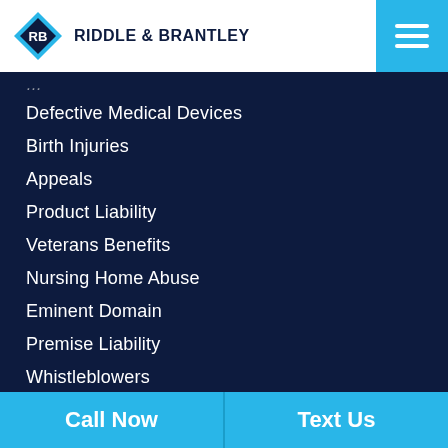RIDDLE & BRANTLEY
Defective Medical Devices
Birth Injuries
Appeals
Product Liability
Veterans Benefits
Nursing Home Abuse
Eminent Domain
Premise Liability
Whistleblowers
Sexual Assault
Employment Law
Unauthorized Practice of Law
Call Now | Text Us